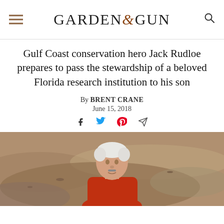GARDEN & GUN
Gulf Coast conservation hero Jack Rudloe prepares to pass the stewardship of a beloved Florida research institution to his son
By BRENT CRANE
June 15, 2018
[Figure (other): Social sharing icons: Facebook, Twitter, Pinterest, and email/share]
[Figure (photo): An elderly man with white hair wearing a red shirt, photographed outdoors on what appears to be a beach or rocky coastal area]